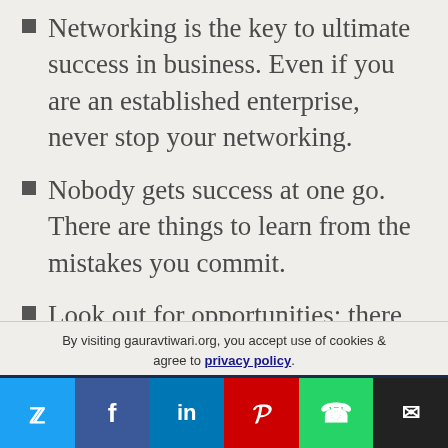Networking is the key to ultimate success in business. Even if you are an established enterprise, never stop your networking.
Nobody gets success at one go. There are things to learn from the mistakes you commit.
Look out for opportunities; there is something in store for sales to be made every minute of the day.
By visiting gauravtiwari.org, you accept use of cookies & agree to privacy policy.